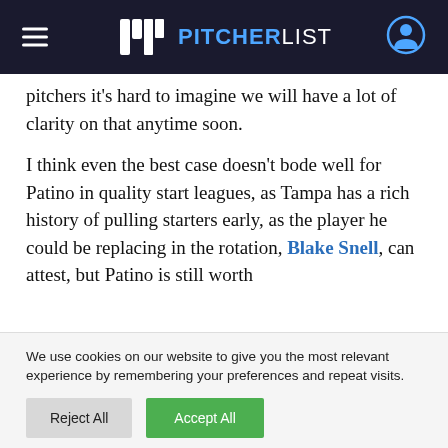PITCHERLIST
pitchers it's hard to imagine we will have a lot of clarity on that anytime soon.
I think even the best case doesn't bode well for Patino in quality start leagues, as Tampa has a rich history of pulling starters early, as the player he could be replacing in the rotation, Blake Snell, can attest, but Patino is still worth
We use cookies on our website to give you the most relevant experience by remembering your preferences and repeat visits.